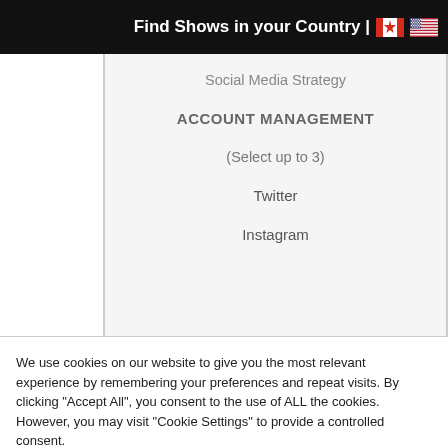Find Shows in your Country | 🇨🇦 🇺🇸
Social Media Strategy
ACCOUNT MANAGEMENT
(Select up to 3)
Twitter
Instagram
We use cookies on our website to give you the most relevant experience by remembering your preferences and repeat visits. By clicking "Accept All", you consent to the use of ALL the cookies. However, you may visit "Cookie Settings" to provide a controlled consent.